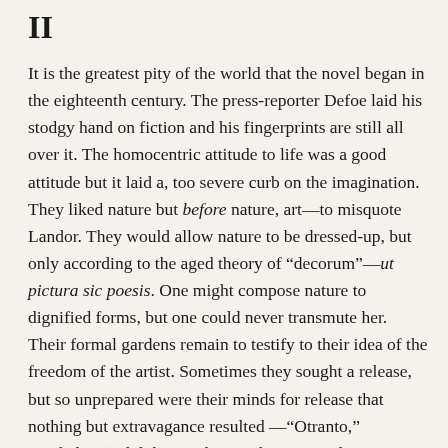II
It is the greatest pity of the world that the novel began in the eighteenth century. The press-reporter Defoe laid his stodgy hand on fiction and his fingerprints are still all over it. The homocentric attitude to life was a good attitude but it laid a, too severe curb on the imagination. They liked nature but before nature, art—to misquote Landor. They would allow nature to be dressed-up, but only according to the aged theory of “decorum”—ut pictura sic poesis. One might compose nature to dignified forms, but one could never transmute her. Their formal gardens remain to testify to their idea of the freedom of the artist. Sometimes they sought a release, but so unprepared were their minds for release that nothing but extravagance resulted —“Otranto,” “Vathek,” “Udolpho,” “The Monk.” It was almost inevitable, therefore, that the idea of character which became rooted in the English novel should be a literal one. And that the criterion of judgment should be a